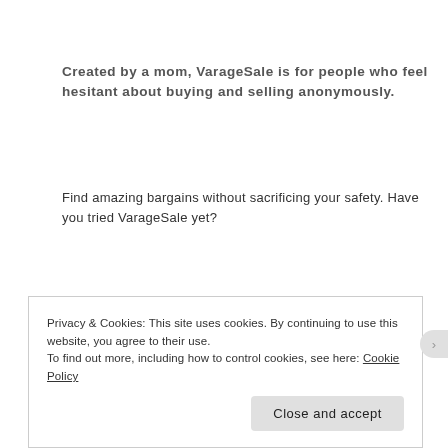Created by a mom, VarageSale is for people who feel hesitant about buying and selling anonymously.
Find amazing bargains without sacrificing your safety. Have you tried VarageSale yet?
[Figure (other): Blue rounded 'Sign Up' button]
RECENT POSTS
5 Budget-Friendly & Kids-Friendly At Home Activities for March Break
Privacy & Cookies: This site uses cookies. By continuing to use this website, you agree to their use.
To find out more, including how to control cookies, see here: Cookie Policy
Close and accept